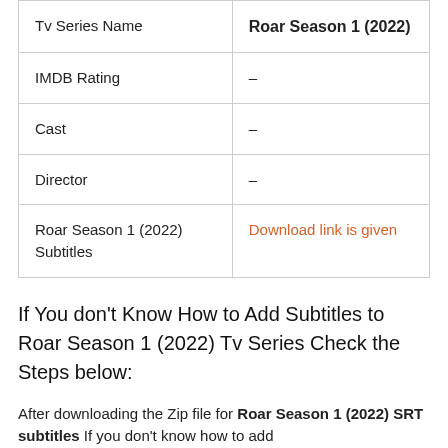|  |  |
| --- | --- |
| Tv Series Name | Roar Season 1 (2022) |
| IMDB Rating | – |
| Cast | – |
| Director | – |
| Roar Season 1 (2022) Subtitles | Download link is given |
If You don't Know How to Add Subtitles to Roar Season 1 (2022) Tv Series Check the Steps below:
After downloading the Zip file for Roar Season 1 (2022) SRT subtitles If you don't know how to add